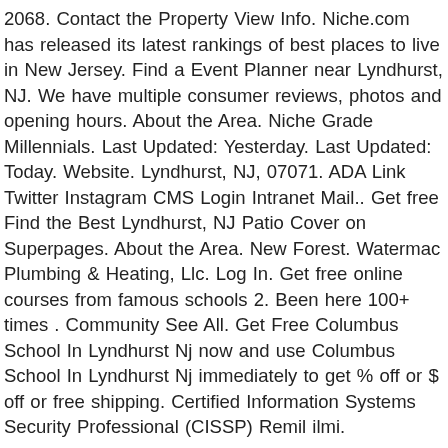2068. Contact the Property View Info. Niche.com has released its latest rankings of best places to live in New Jersey. Find a Event Planner near Lyndhurst, NJ. We have multiple consumer reviews, photos and opening hours. About the Area. Niche Grade Millennials. Last Updated: Yesterday. Last Updated: Today. Website. Lyndhurst, NJ, 07071. ADA Link Twitter Instagram CMS Login Intranet Mail.. Get free Find the Best Lyndhurst, NJ Patio Cover on Superpages. About the Area. New Forest. Watermac Plumbing & Heating, Llc. Log In. Get free online courses from famous schools 2. Been here 100+ times . Community See All. Get Free Columbus School In Lyndhurst Nj now and use Columbus School In Lyndhurst Nj immediately to get % off or $ off or free shipping. Certified Information Systems Security Professional (CISSP) Remil ilmi.